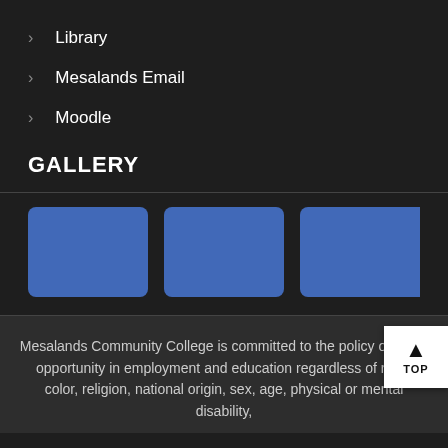Library
Mesalands Email
Moodle
GALLERY
[Figure (photo): Three blue placeholder image boxes in a horizontal gallery row]
Mesalands Community College is committed to the policy of equal opportunity in employment and education regardless of race, color, religion, national origin, sex, age, physical or mental disability,